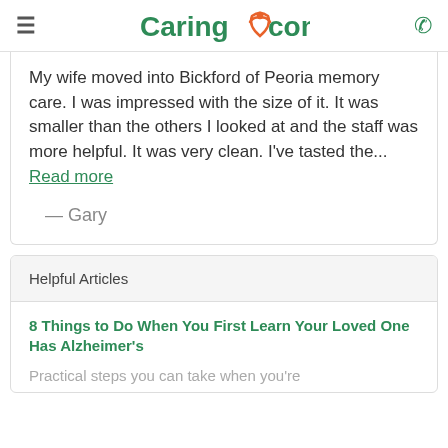Caring.com
My wife moved into Bickford of Peoria memory care. I was impressed with the size of it. It was smaller than the others I looked at and the staff was more helpful. It was very clean. I've tasted the... Read more
— Gary
Helpful Articles
8 Things to Do When You First Learn Your Loved One Has Alzheimer's
Practical steps you can take when you're